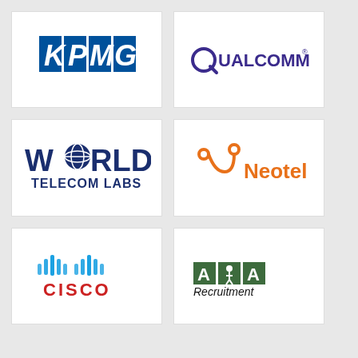[Figure (logo): KPMG logo – blue rectangles with white K P M G letters]
[Figure (logo): Qualcomm logo – dark blue text with stylized Q]
[Figure (logo): World Telecom Labs logo – globe in O with dark blue text]
[Figure (logo): Neotel logo – orange connector symbol with Neotel text]
[Figure (logo): Cisco logo – blue sound wave bars with red CISCO text]
[Figure (logo): AOA Recruitment logo – green/dark blocks with running figure]